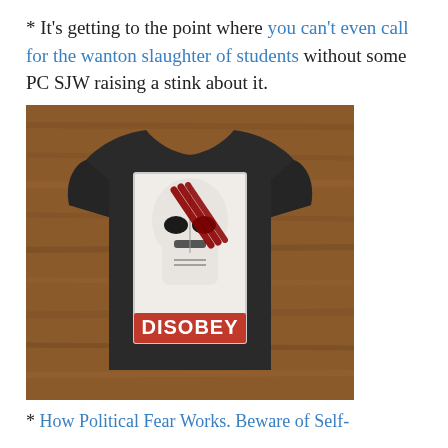* It's getting to the point where you can't even call for the wanton slaughter of students without some PC SJW raising a stink about it.
[Figure (photo): A black t-shirt displayed on a wooden surface. The shirt features a graphic of a Stormtrooper helmet with red slash marks across it in the style of an OBEY poster, with a red banner at the bottom reading 'DISOBEY' in white bold letters.]
* How Political Fear Works. Beware of Self-